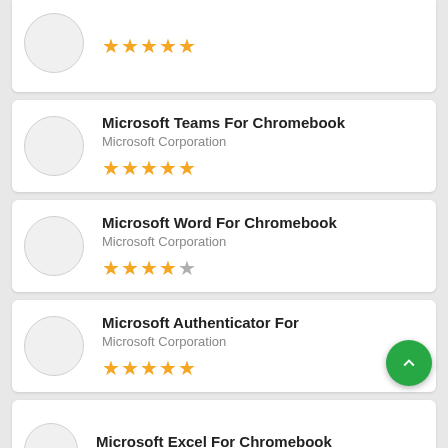[Figure (screenshot): Partial app listing card showing 5 gold stars rating]
Microsoft Teams For Chromebook
Microsoft Corporation
★★★★★
Microsoft Word For Chromebook
Microsoft Corporation
★★★★½
Microsoft Authenticator For
Microsoft Corporation
★★★★★
Microsoft Excel For Chromebook
Microsoft Corporation